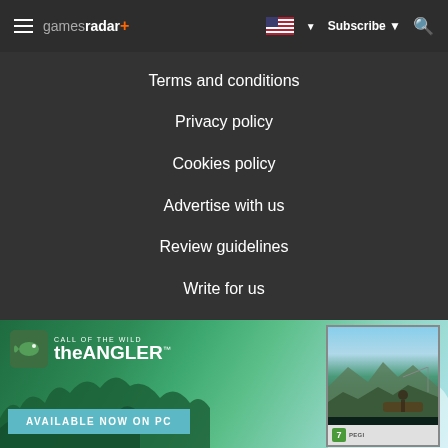gamesradar+ — Subscribe — Search
Terms and conditions
Privacy policy
Cookies policy
Advertise with us
Review guidelines
Write for us
[Figure (illustration): Advertisement banner for 'Call of the Wild: The Angler' game. Shows outdoor fishing scene with mountains and lake in background. Text reads 'CALL OF THE WILD theANGLER' logo on left, 'AVAILABLE NOW ON PC' button below. Game box art on right showing a person fishing from a boat on a mountain lake.]